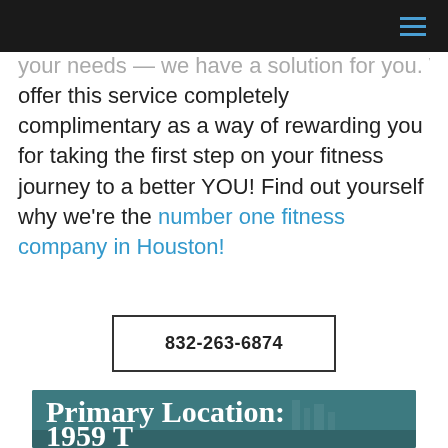[navigation bar with hamburger menu icon]
your needs — we have a solution for you. We offer this service completely complimentary as a way of rewarding you for taking the first step on your fitness journey to a better YOU! Find out yourself why we're the number one fitness company in Houston!
832-263-6874
[Figure (photo): Teal/dark cyan banner image with bold white text reading 'Primary Location:' and partial address text below, with a faint cityscape silhouette in the background]